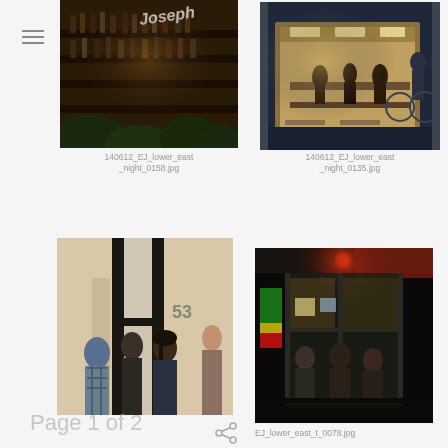[Figure (photo): Night photo of a wine shop or bar with bottles on shelves and graffiti sign reading 'Joseph', foliage in foreground]
140612_EJ_lower_east_night_0158.jpg
[Figure (photo): Night photo of an open-fronted cafe or restaurant with people inside and bicycles outside]
140612_EJ_lower_east_night_0135.jpg
[Figure (photo): Interior gallery or building entrance with large black framed glass doors, people standing inside, address number 53 visible]
[Figure (photo): Night photo of a bar or cafe entrance with red light overhead, people entering through glass doors]
EJ_lower_east_t_0078.jpg
Page 1 of 2